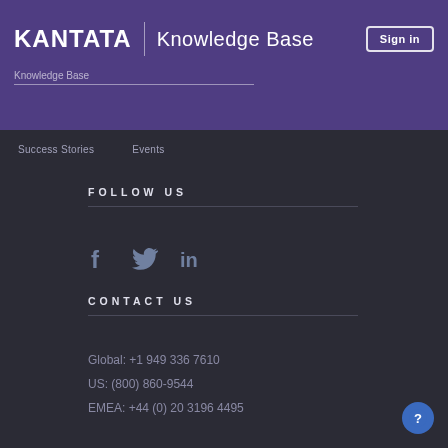KANTATA | Knowledge Base
Success Stories    Events
FOLLOW US
[Figure (illustration): Social media icons: Facebook (f), Twitter (bird), LinkedIn (in)]
CONTACT US
Global: +1 949 336 7610
US: (800) 860-9544
EMEA: +44 (0) 20 3196 4495